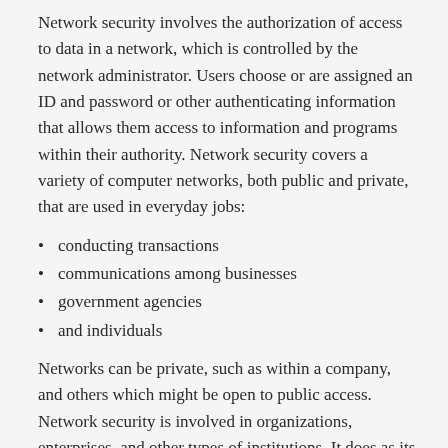Network security involves the authorization of access to data in a network, which is controlled by the network administrator. Users choose or are assigned an ID and password or other authenticating information that allows them access to information and programs within their authority. Network security covers a variety of computer networks, both public and private, that are used in everyday jobs:
conducting transactions
communications among businesses
government agencies
and individuals
Networks can be private, such as within a company, and others which might be open to public access. Network security is involved in organizations, enterprises, and other types of institutions. It does as its title explains: it secures the network, as well as protecting and overseeing operations being done. The most common and simple way of protecting a network resource is by assigning it a unique name and a